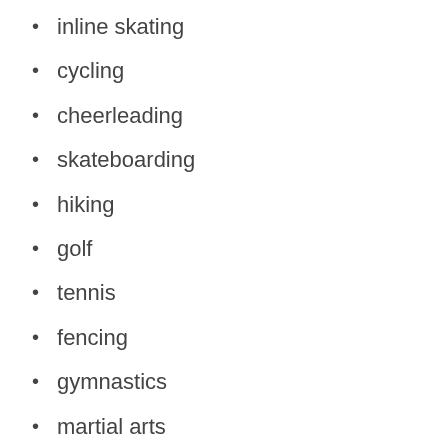inline skating
cycling
cheerleading
skateboarding
hiking
golf
tennis
fencing
gymnastics
martial arts